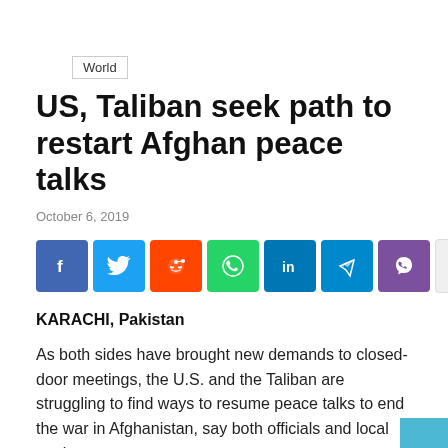World
US, Taliban seek path to restart Afghan peace talks
October 6, 2019
[Figure (infographic): Social media share buttons: Facebook (blue), Twitter (light blue), Reddit (orange-red), WhatsApp (green), LinkedIn (dark blue), Telegram (cyan), Viber (purple), and a plus button]
KARACHI, Pakistan
As both sides have brought new demands to closed-door meetings, the U.S. and the Taliban are struggling to find ways to resume peace talks to end the war in Afghanistan, say both officials and local analysts.
A 13-member delegation of the Afghan Taliban political offic…